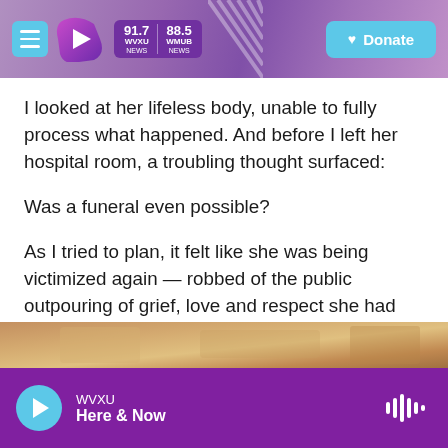WVXU 91.7 NEWS | 88.5 WMUB NEWS | Donate
I looked at her lifeless body, unable to fully process what happened. And before I left her hospital room, a troubling thought surfaced:
Was a funeral even possible?
As I tried to plan, it felt like she was being victimized again — robbed of the public outpouring of grief, love and respect she had earned through 81 years of life, much of it spent in the service of others.
[Figure (photo): Partial photo visible at bottom of page, warm brown/tan tones]
WVXU — Here & Now (audio player)